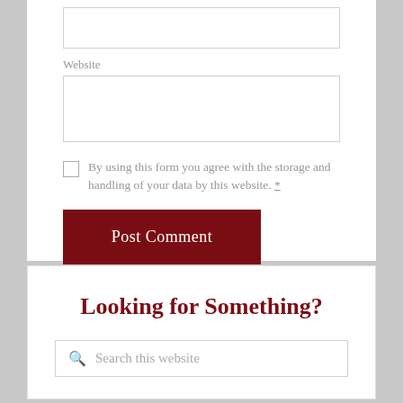Website
[Figure (screenshot): Website form field input box (empty text input)]
By using this form you agree with the storage and handling of your data by this website. *
Post Comment
Looking for Something?
[Figure (screenshot): Search input box with placeholder text 'Search this website']